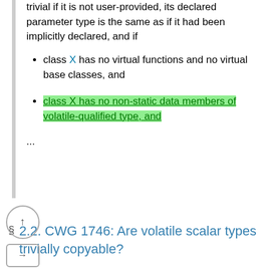trivial if it is not user-provided, its declared parameter type is the same as if it had been implicitly declared, and if
class X has no virtual functions and no virtual base classes, and
class X has no non-static data members of volatile-qualified type, and
...
2.2. CWG 1746: Are volatile scalar types trivially copyable?
In September 2013, Walter Brown writes:
According to 6.9 [basic.types] paragraph 9,
Arithmetic types (6.9.1 [basic.fundamental])